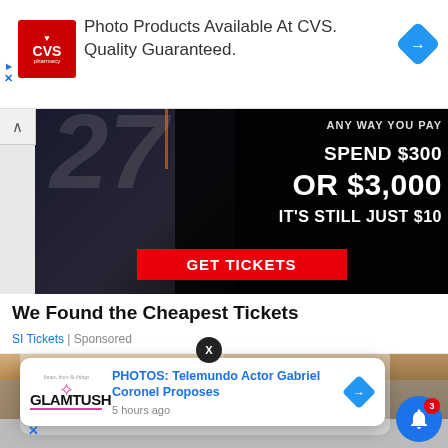[Figure (screenshot): CVS Pharmacy advertisement banner with red CVS logo on left, text 'Photo Products Available At CVS. Quality Guaranteed.' in center, and blue navigation diamond icon on right]
[Figure (screenshot): Sports ticket advertisement showing football player with jersey number 27, text 'ANY WAY YOU PAY SPEND $300 OR $3,000 IT'S STILL JUST $10' with red GET TICKETS button]
We Found the Cheapest Tickets
SI Tickets | Sponsored
[Figure (photo): Partial view of a person's head/hair from above]
[Figure (screenshot): Popup notification card for GlamTush showing 'PHOTOS: Telemundo Actor Gabriel Coronel Proposes' posted 5 hours ago, with X close button and blue navigation icon]